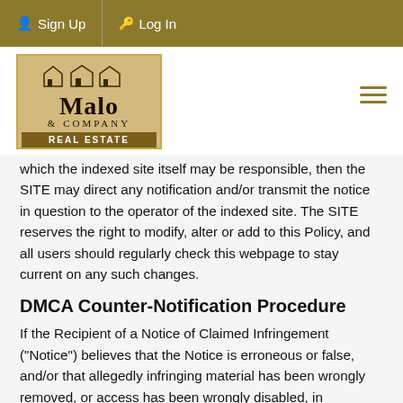Sign Up  Log In
[Figure (logo): Malo & Company Real Estate logo with house illustration]
which the indexed site itself may be responsible, then the SITE may direct any notification and/or transmit the notice in question to the operator of the indexed site. The SITE reserves the right to modify, alter or add to this Policy, and all users should regularly check this webpage to stay current on any such changes.
DMCA Counter-Notification Procedure
If the Recipient of a Notice of Claimed Infringement ("Notice") believes that the Notice is erroneous or false, and/or that allegedly infringing material has been wrongly removed, or access has been wrongly disabled, in accordance with the procedures outlined above, the Recipient is permitted to submit a counter-notification pursuant to Sections 512(g)(2-3) of the DMCA. A